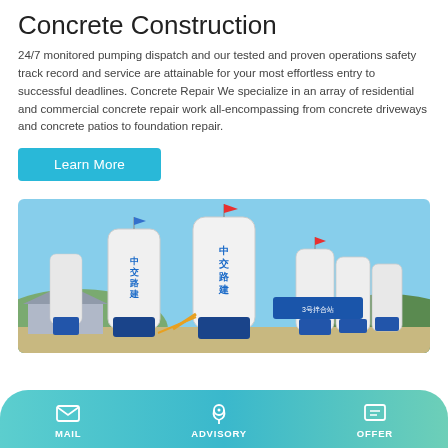Concrete Construction
24/7 monitored pumping dispatch and our tested and proven operations safety track record and service are attainable for your most effortless entry to successful deadlines. Concrete Repair We specialize in an array of residential and commercial concrete repair work all-encompassing from concrete driveways and concrete patios to foundation repair.
Learn More
[Figure (photo): Photo of industrial concrete batching plant with multiple large white cylindrical silos labeled with Chinese characters (中交路建), blue bases, and small flags on top, set against a blue sky with hills in background.]
MAIL   ADVISORY   OFFER